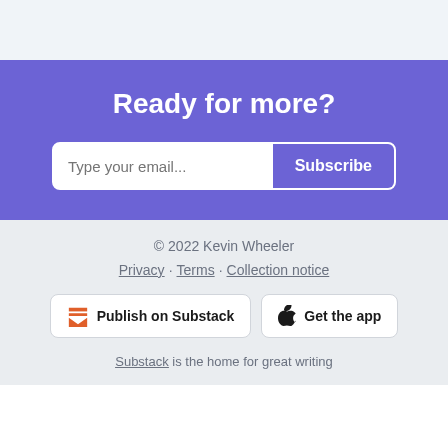Ready for more?
Type your email... Subscribe
© 2022 Kevin Wheeler
Privacy · Terms · Collection notice
Publish on Substack   Get the app
Substack is the home for great writing